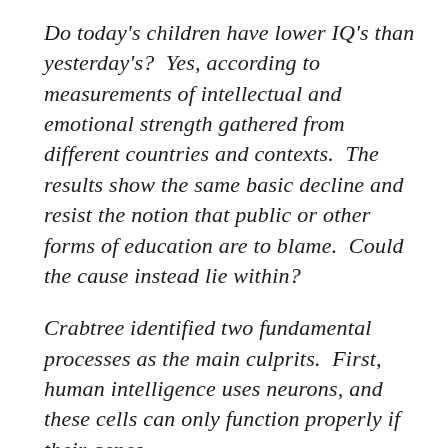Do today's children have lower IQ's than yesterday's?  Yes, according to measurements of intellectual and emotional strength gathered from different countries and contexts.  The results show the same basic decline and resist the notion that public or other forms of education are to blame.  Could the cause instead lie within?
Crabtree identified two fundamental processes as the main culprits.  First, human intelligence uses neurons, and these cells can only function properly if their genes